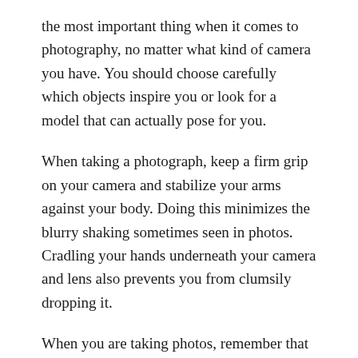the most important thing when it comes to photography, no matter what kind of camera you have. You should choose carefully which objects inspire you or look for a model that can actually pose for you.
When taking a photograph, keep a firm grip on your camera and stabilize your arms against your body. Doing this minimizes the blurry shaking sometimes seen in photos. Cradling your hands underneath your camera and lens also prevents you from clumsily dropping it.
When you are taking photos, remember that sometimes less is more. You should have no reason to have a bunch of clutter or elements in your shot. Keeping things simple in your photos is what catches your viewer's attention, simplicity often creates a big punch!
You shouldn't neglect the foreground as many novice